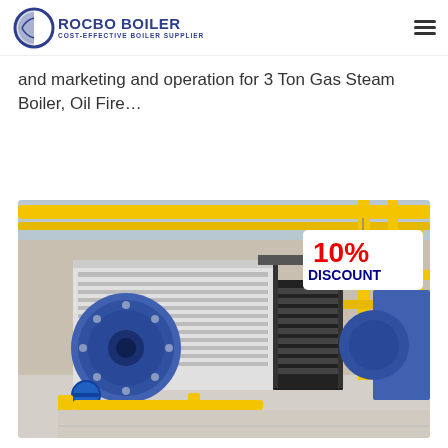ROCBO BOILER - COST-EFFECTIVE BOILER SUPPLIER
and marketing and operation for 3 Ton Gas Steam Boiler, Oil Fire…
Get Price
[Figure (photo): Industrial gas steam boiler facility with blue cylindrical boiler unit, yellow pipes overhead, metal staircase, and a 10% DISCOUNT banner in the upper right corner]